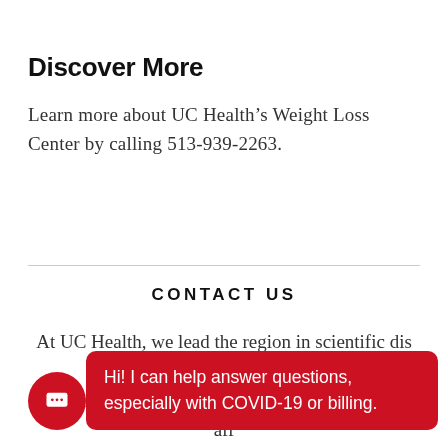Discover More
Learn more about UC Health’s Weight Loss Center by calling 513-939-2263.
CONTACT US
At UC Health, we lead the region in scientific dis… er … beyond everyday healthcare. At UC Health, we aff…
Hi! I can help answer questions, especially with COVID-19 or billing.